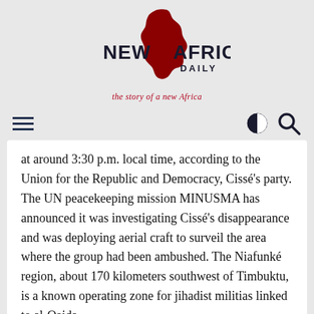[Figure (logo): New Africa Daily logo with red Africa continent silhouette and bold text 'NEW AFRICA DAILY']
the story of a new Africa
[Figure (infographic): Navigation bar with hamburger menu icon on left, contrast and search icons on right]
at around 3:30 p.m. local time, according to the Union for the Republic and Democracy, Cissé's party. The UN peacekeeping mission MINUSMA has announced it was investigating Cissé's disappearance and was deploying aerial craft to surveil the area where the group had been ambushed. The Niafunké region, about 170 kilometers southwest of Timbuktu, is a known operating zone for jihadist militias linked to al-Qaida.